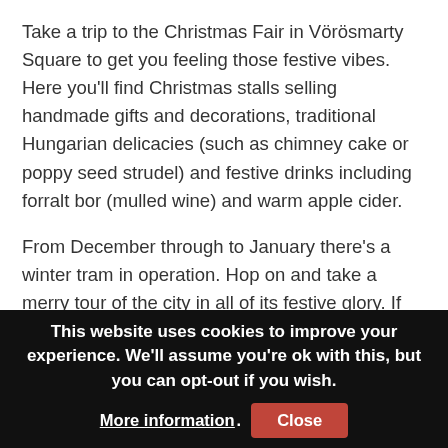Take a trip to the Christmas Fair in Vörösmarty Square to get you feeling those festive vibes. Here you'll find Christmas stalls selling handmade gifts and decorations, traditional Hungarian delicacies (such as chimney cake or poppy seed strudel) and festive drinks including forralt bor (mulled wine) and warm apple cider.
From December through to January there's a winter tram in operation. Hop on and take a merry tour of the city in all of its festive glory. If you're looking for something a little more active, try ice skating at Varosliget Ice Rink – one of the oldest ice still in operation in rinks in central Europe!
This website uses cookies to improve your experience. We'll assume you're ok with this, but you can opt-out if you wish. More information. Close